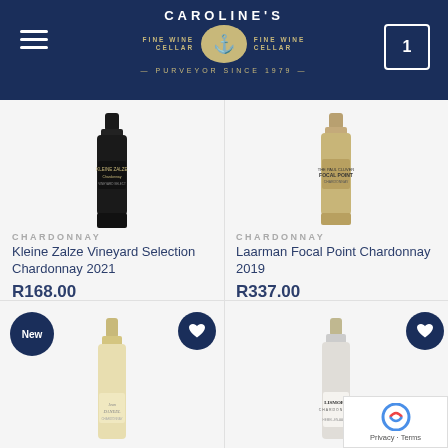Caroline's Fine Wine Cellar — Purveyor Since 1979
[Figure (photo): Kleine Zalze Vineyard Selection Chardonnay 2021 wine bottle]
CHARDONNAY
Kleine Zalze Vineyard Selection Chardonnay 2021
R168.00
[Figure (photo): Laarman Focal Point Chardonnay 2019 wine bottle]
CHARDONNAY
Laarman Focal Point Chardonnay 2019
R337.00
[Figure (photo): New wine bottle - bottom left product]
[Figure (photo): Lismore Chardonnay wine bottle - bottom right product]